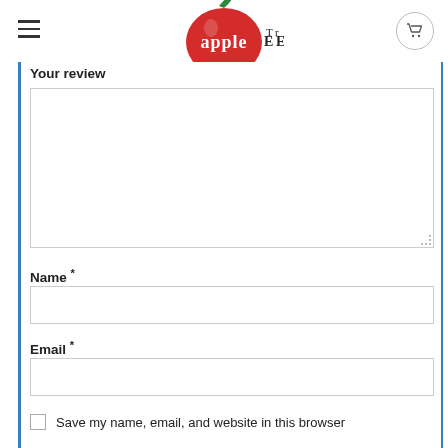[Figure (logo): Apple Tree logo with stylized apple shape containing the text 'apple' surrounded by decorative lettering]
Your review
Name *
Email *
Save my name, email, and website in this browser